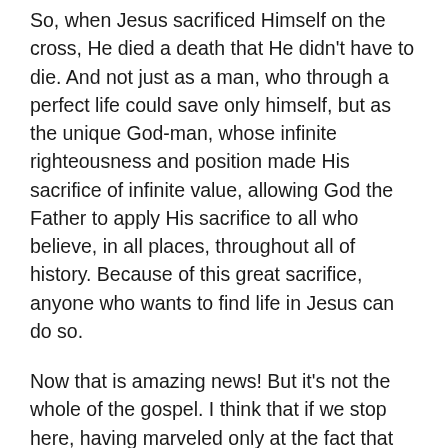So, when Jesus sacrificed Himself on the cross, He died a death that He didn't have to die. And not just as a man, who through a perfect life could save only himself, but as the unique God-man, whose infinite righteousness and position made His sacrifice of infinite value, allowing God the Father to apply His sacrifice to all who believe, in all places, throughout all of history. Because of this great sacrifice, anyone who wants to find life in Jesus can do so.
Now that is amazing news! But it's not the whole of the gospel. I think that if we stop here, having marveled only at the fact that Jesus died for us, then we run the risk of allowing His death to drift into the background of life, and become something far away or distant, something which provides only a residual, vague reassurance that something good has happened to our destinies. Instead, Christ's death plays an active, significant role in every day